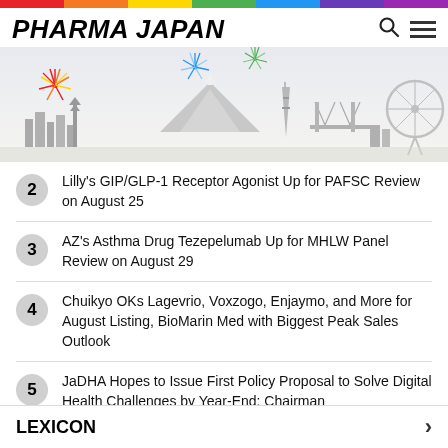[Figure (illustration): Rainbow stripe banner at top of page]
PHARMA JAPAN
[Figure (illustration): Tokyo skyline with fireworks banner image]
2  Lilly's GIP/GLP-1 Receptor Agonist Up for PAFSC Review on August 25
3  AZ's Asthma Drug Tezepelumab Up for MHLW Panel Review on August 29
4  Chuikyo OKs Lagevrio, Voxzogo, Enjaymo, and More for August Listing, BioMarin Med with Biggest Peak Sales Outlook
5  JaDHA Hopes to Issue First Policy Proposal to Solve Digital Health Challenges by Year-End: Chairman
LEXICON  ›